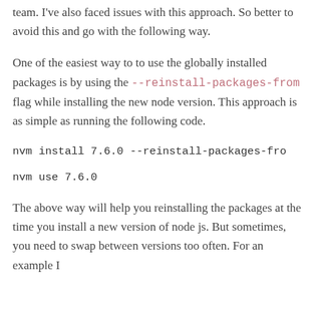team. I've also faced issues with this approach. So better to avoid this and go with the following way.
One of the easiest way to to use the globally installed packages is by using the --reinstall-packages-from flag while installing the new node version. This approach is as simple as running the following code.
nvm install 7.6.0 --reinstall-packages-fro
nvm use 7.6.0
The above way will help you reinstalling the packages at the time you install a new version of node js. But sometimes, you need to swap between versions too often. For an example I